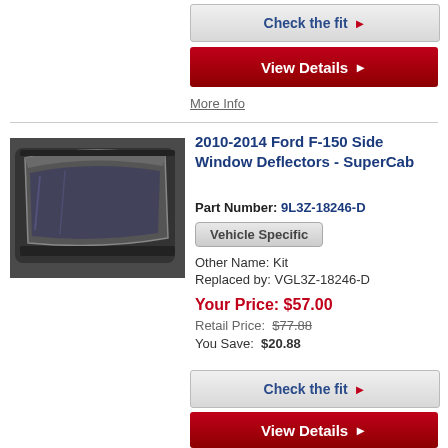Check the fit ▶
View Details ▶
More Info
[Figure (photo): Side window deflector/wind deflector for Ford F-150 SuperCab, dark tinted, shown mounted on vehicle window]
2010-2014 Ford F-150 Side Window Deflectors - SuperCab
Part Number: 9L3Z-18246-D
Vehicle Specific
Other Name: Kit
Replaced by: VGL3Z-18246-D
Your Price: $57.00
Retail Price: $77.88
You Save: $20.88
Check the fit ▶
View Details ▶